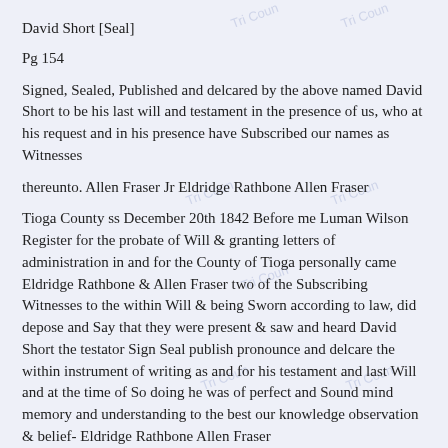David Short [Seal]
Pg 154
Signed, Sealed, Published and delcared by the above named David Short to be his last will and testament in the presence of us, who at his request and in his presence have Subscribed our names as Witnesses
thereunto. Allen Fraser Jr Eldridge Rathbone Allen Fraser
Tioga County ss December 20th 1842 Before me Luman Wilson Register for the probate of Will & granting letters of administration in and for the County of Tioga personally came Eldridge Rathbone & Allen Fraser two of the Subscribing Witnesses to the within Will & being Sworn according to law, did depose and Say that they were present & saw and heard David Short the testator Sign Seal publish pronounce and delcare the within instrument of writing as and for his testament and last Will and at the time of So doing he was of perfect and Sound mind memory and understanding to the best our knowledge observation & belief- Eldridge Rathbone Allen Fraser
Sworn & Subscribed before)